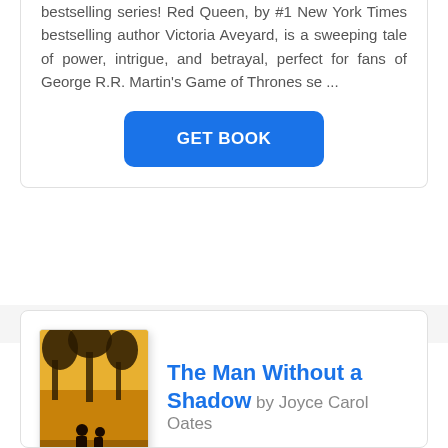bestselling series! Red Queen, by #1 New York Times bestselling author Victoria Aveyard, is a sweeping tale of power, intrigue, and betrayal, perfect for fans of George R.R. Martin's Game of Thrones se ...
GET BOOK
[Figure (illustration): Book cover of 'The Man Without a Shadow' by Joyce Carol Oates, showing two silhouetted figures against a yellow/orange sky with trees.]
The Man Without a Shadow by Joyce Carol Oates
In this taut and fascinating novel, the bestselling, New York Times bestselling and National